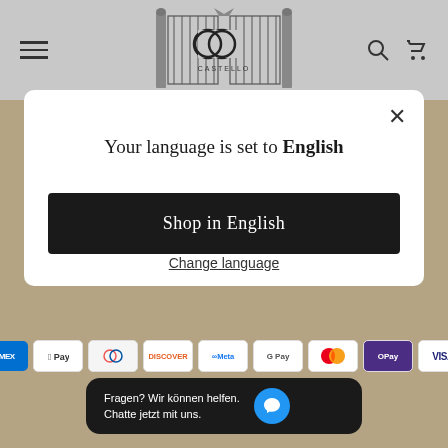[Figure (logo): Castello brand logo with ornate gate design]
Your language is set to English
Shop in English
Change language
[Figure (other): Payment method icons: AMEX, Apple Pay, Diners, Discover, Meta Pay, Google Pay, Mastercard, OPay, VISA]
Fragen? Wir können helfen.
Chatte jetzt mit uns.